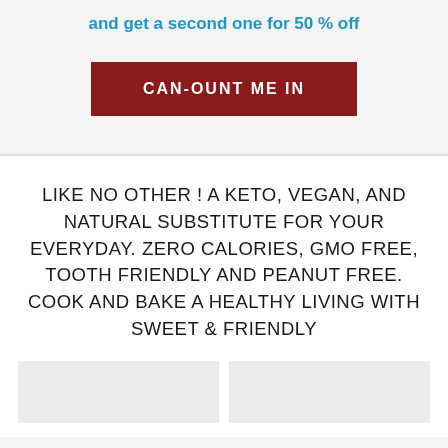and get a second one for 50 % off
CAN-OUNT ME IN
LIKE NO OTHER ! A KETO, VEGAN, AND NATURAL SUBSTITUTE FOR YOUR EVERYDAY. ZERO CALORIES, GMO FREE, TOOTH FRIENDLY AND PEANUT FREE. COOK AND BAKE A HEALTHY LIVING WITH SWEET & FRIENDLY
[Figure (photo): Two image placeholders side by side at the bottom of the page]